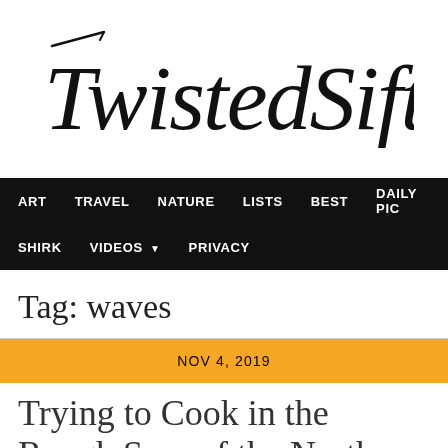[Figure (logo): TwistedSifter handwritten/script logo in black on white background]
ART  TRAVEL  NATURE  LISTS  BEST  DAILY PIC  SHIRK  VIDEOS  PRIVACY
Tag: waves
NOV 4, 2019
Trying to Cook in the Rough Seas of the North Atlantic Looks.. Rough